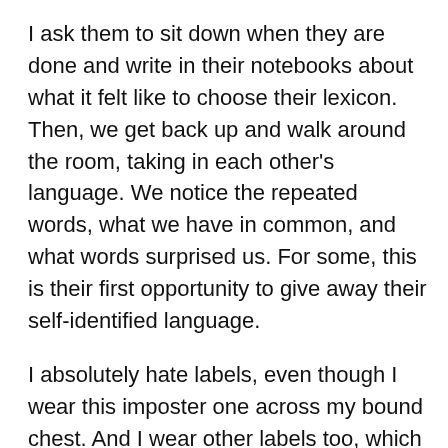I ask them to sit down when they are done and write in their notebooks about what it felt like to choose their lexicon. Then, we get back up and walk around the room, taking in each other's language. We notice the repeated words, what we have in common, and what words surprised us. For some, this is their first opportunity to give away their self-identified language.
I absolutely hate labels, even though I wear this imposter one across my bound chest. And I wear other labels too, which I self-imposed. Do I do this before someone else does?
Dictionaries are thicker now, and so are we. In brain stem, worry lines, and flesh stretch.
Maybe we need new definitions? To take these words out